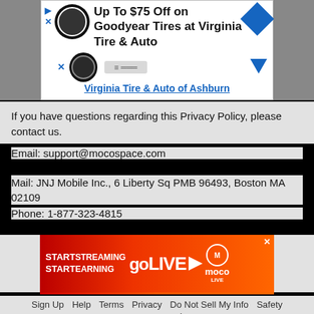[Figure (screenshot): Advertisement banner for Goodyear Tires at Virginia Tire & Auto with logo, text 'Up To $75 Off on Goodyear Tires at Virginia Tire & Auto', and 'Virginia Tire & Auto of Ashburn' link]
If you have questions regarding this Privacy Policy, please contact us.
Email: support@mocospace.com
Mail: JNJ Mobile Inc., 6 Liberty Sq PMB 96493, Boston MA 02109
Phone: 1-877-323-4815
[Figure (screenshot): Advertisement banner: START STREAMING START EARNING goLIVE moco LIVE]
Sign Up  Help  Terms  Privacy  Do Not Sell My Info  Safety  Moco Local  © 2005-2022 JNJ Mobile, Inc All rights reserved.
[Figure (screenshot): Bottom navigation bar with Meet, Rooms, Chat, Me icons]